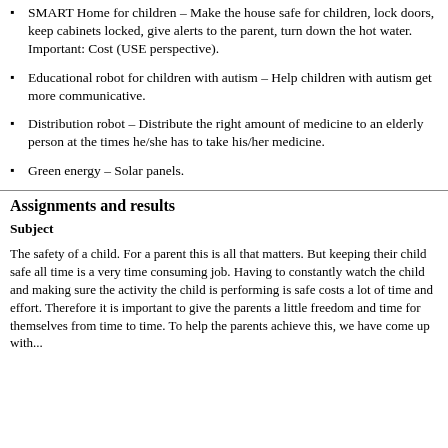SMART Home for children – Make the house safe for children, lock doors, keep cabinets locked, give alerts to the parent, turn down the hot water. Important: Cost (USE perspective).
Educational robot for children with autism – Help children with autism get more communicative.
Distribution robot – Distribute the right amount of medicine to an elderly person at the times he/she has to take his/her medicine.
Green energy – Solar panels.
Assignments and results
Subject
The safety of a child. For a parent this is all that matters. But keeping their child safe all time is a very time consuming job. Having to constantly watch the child and making sure the activity the child is performing is safe costs a lot of time and effort. Therefore it is important to give the parents a little freedom and time for themselves from time to time. To help the parents achieve this, we have come up with...